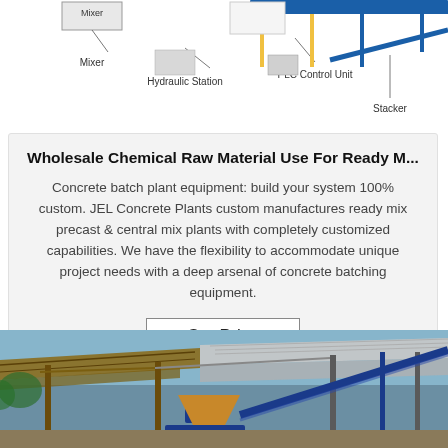[Figure (engineering-diagram): Partial engineering diagram of concrete batching plant showing labeled components: Mixer, Hydraulic Station, PLC Control Unit, Stacker]
Wholesale Chemical Raw Material Use For Ready M...
Concrete batch plant equipment: build your system 100% custom. JEL Concrete Plants custom manufactures ready mix precast & central mix plants with completely customized capabilities. We have the flexibility to accommodate unique project needs with a deep arsenal of concrete batching equipment.
Get Price
[Figure (photo): Photo of a concrete batching plant facility with metal roof structure, conveyor belt, hopper/funnel component, and blue equipment visible]